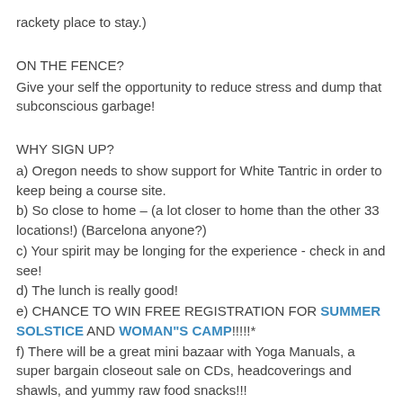rackety place to stay.)
ON THE FENCE?
Give your self the opportunity to reduce stress and dump that subconscious garbage!
WHY SIGN UP?
a) Oregon needs to show support for White Tantric in order to keep being a course site.
b) So close to home – (a lot closer to home than the other 33 locations!) (Barcelona anyone?)
c) Your spirit may be longing for the experience - check in and see!
d) The lunch is really good!
e) CHANCE TO WIN FREE REGISTRATION FOR SUMMER SOLSTICE AND WOMAN"S CAMP!!!!!*
f) There will be a great mini bazaar with Yoga Manuals, a super bargain closeout sale on CDs, headcoverings and shawls, and yummy raw food snacks!!!
* Each person that attends White Tantric on May 4th will be given a